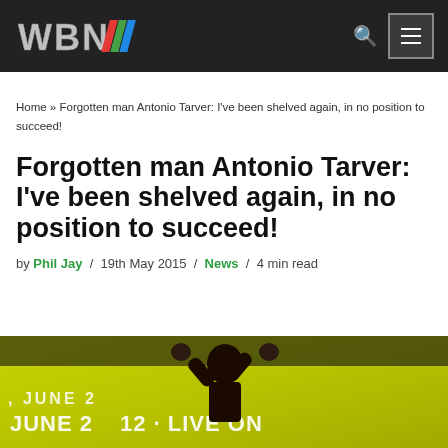WBN [logo] navigation bar
Home » Forgotten man Antonio Tarver: I've been shelved again, in no position to succeed!
Forgotten man Antonio Tarver: I've been shelved again, in no position to succeed!
by Phil Jay / 19th May 2015 / News / 4 min read
[Figure (photo): Antonio Tarver at press conference with fists raised, yellow/green background with event text]